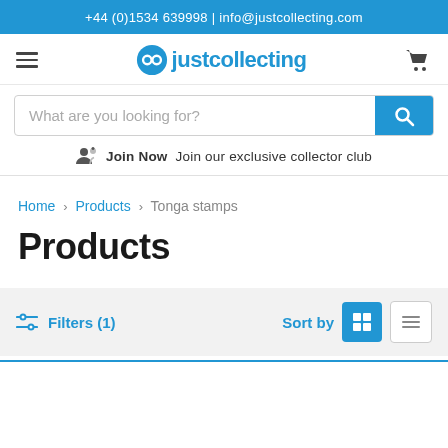+44 (0)1534 639998 | info@justcollecting.com
[Figure (logo): Just Collecting logo with hamburger menu and cart icon]
What are you looking for?
Join Now Join our exclusive collector club
Home > Products > Tonga stamps
Products
Filters (1)  Sort by